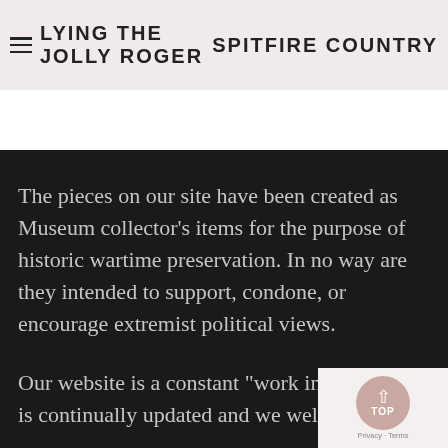FLYING THE JOLLY ROGER   SPITFIRE COUNTRY
The pieces on our site have been created as Museum collector's items for the purpose of historic wartime preservation. In no way are they intended to support, condone, or encourage extremist political views.
Our website is a constant "work in progress" is continually updated and we welcome any